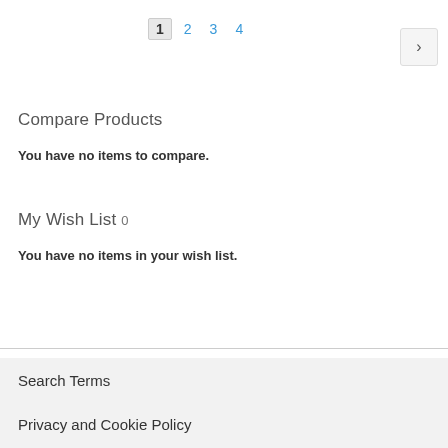1 2 3 4 >
Compare Products
You have no items to compare.
My Wish List 0
You have no items in your wish list.
Search Terms
Privacy and Cookie Policy